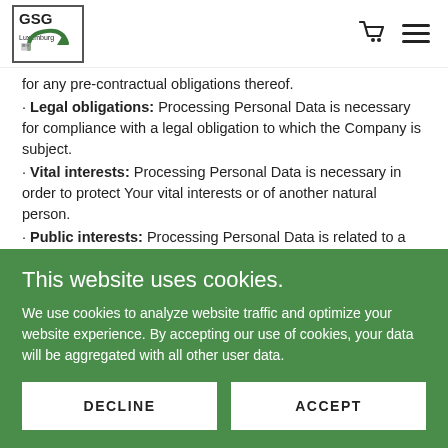GSG [logo with cart and menu icons]
for any pre-contractual obligations thereof.
· Legal obligations: Processing Personal Data is necessary for compliance with a legal obligation to which the Company is subject.
· Vital interests: Processing Personal Data is necessary in order to protect Your vital interests or of another natural person.
· Public interests: Processing Personal Data is related to a task that is carried out in the public interest or in the exercise of official authority vested in the Company.
This website uses cookies.
We use cookies to analyze website traffic and optimize your website experience. By accepting our use of cookies, your data will be aggregated with all other user data.
DECLINE   ACCEPT